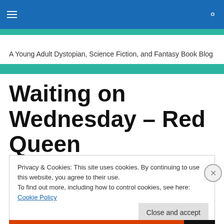Navigation bar with hamburger menu and search icon
A Young Adult Dystopian, Science Fiction, and Fantasy Book Blog
Waiting on Wednesday – Red Queen
Privacy & Cookies: This site uses cookies. By continuing to use this website, you agree to their use.
To find out more, including how to control cookies, see here: Cookie Policy